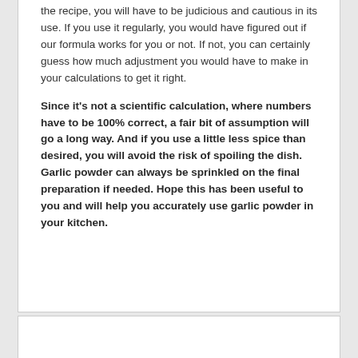the recipe, you will have to be judicious and cautious in its use. If you use it regularly, you would have figured out if our formula works for you or not. If not, you can certainly guess how much adjustment you would have to make in your calculations to get it right.
Since it's not a scientific calculation, where numbers have to be 100% correct, a fair bit of assumption will go a long way. And if you use a little less spice than desired, you will avoid the risk of spoiling the dish. Garlic powder can always be sprinkled on the final preparation if needed. Hope this has been useful to you and will help you accurately use garlic powder in your kitchen.